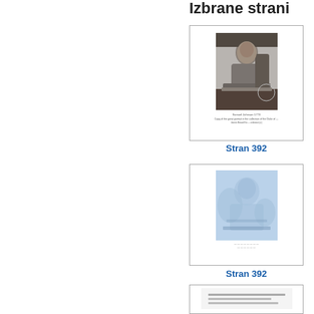Izbrane strani
[Figure (photo): Thumbnail of a black-and-white portrait engraving of a seated man at a desk, with small caption text below]
Stran 392
[Figure (photo): Thumbnail of a faded blue-toned portrait image of a figure, with small caption text below]
Stran 392
[Figure (photo): Partial thumbnail of another page, cropped at bottom edge]